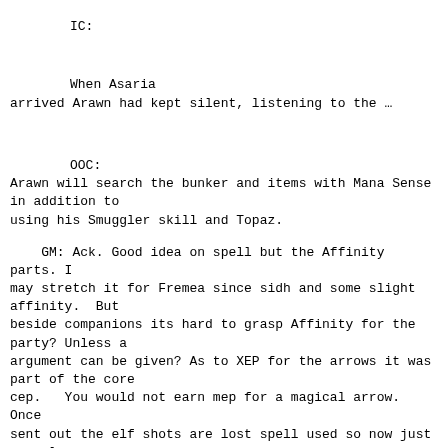IC:


        When Asaria
arrived Arawn had kept silent, listening to the …
OOC:
Arawn will search the bunker and items with Mana Sense in addition to
using his Smuggler skill and Topaz.
GM: Ack. Good idea on spell but the Affinity parts. I
may stretch it for Fremea since sidh and some slight affinity.  But
beside companions its hard to grasp Affinity for the party? Unless a
argument can be given? As to XEP for the arrows it was part of the core
cep.   You would not earn mep for a magical arrow.  Once
sent out the elf shots are lost spell used so now just normal arrows.
From Raddok: [Re: Actions]